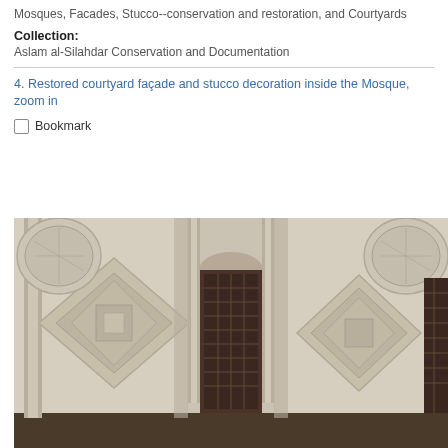Mosques, Facades, Stucco--conservation and restoration, and Courtyards
Collection:
Aslam al-Silahdar Conservation and Documentation
4. Restored courtyard façade and stucco decoration inside the Mosque, zoom in
Bookmark
[Figure (photo): Photograph of a restored mosque courtyard façade showing intricate stucco decorations including diamond-shaped geometric panels, circular medallions, ornate columns, and a dark wooden latticed door/window in the center. The stonework is light beige/cream colored with detailed carved relief patterns.]